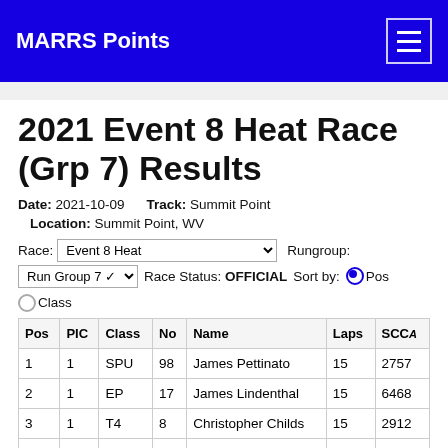MARRS Points
2021 Event 8 Heat Race (Grp 7) Results
Date: 2021-10-09   Track: Summit Point   Location: Summit Point, WV
Race: Event 8 Heat   Rungroup: Run Group 7   Race Status: OFFICIAL   Sort by: Pos / Class
| Pos | PIC | Class | No | Name | Laps | SCCA |
| --- | --- | --- | --- | --- | --- | --- |
| 1 | 1 | SPU | 98 | James Pettinato | 15 | 2757 |
| 2 | 1 | EP | 17 | James Lindenthal | 15 | 6468 |
| 3 | 1 | T4 | 8 | Christopher Childs | 15 | 2912 |
| 4 | 1 | STL | 44 | Kipp Gaynor | 15 | 1176 |